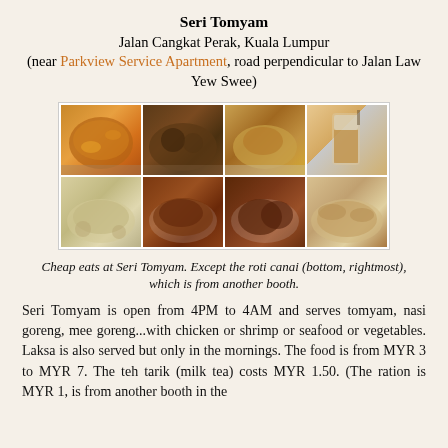Seri Tomyam
Jalan Cangkat Perak, Kuala Lumpur
(near Parkview Service Apartment, road perpendicular to Jalan Law Yew Swee)
[Figure (photo): 2x4 grid of food photos showing tomyam soup, fried rice, nasi goreng with chicken, milk tea drink (top row), and plain rice, fried rice, fried chicken, roti canai (bottom row)]
Cheap eats at Seri Tomyam. Except the roti canai (bottom, rightmost), which is from another booth.
Seri Tomyam is open from 4PM to 4AM and serves tomyam, nasi goreng, mee goreng...with chicken or shrimp or seafood or vegetables. Laksa is also served but only in the mornings. The food is from MYR 3 to MYR 7. The teh tarik (milk tea) costs MYR 1.50. (The ration is MYR 1, is from another booth in the...